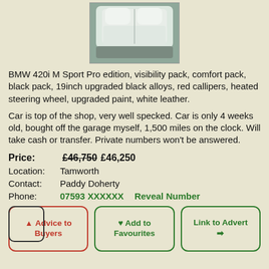[Figure (photo): Car interior photo showing white leather seats from above]
BMW 420i M Sport Pro edition, visibility pack, comfort pack, black pack, 19inch upgraded black alloys, red callipers, heated steering wheel, upgraded paint, white leather.
Car is top of the shop, very well specked. Car is only 4 weeks old, bought off the garage myself, 1,500 miles on the clock. Will take cash or transfer. Private numbers won't be answered.
Price: £46,750 £46,250
Location: Tamworth
Contact: Paddy Doherty
Phone: 07593 XXXXXX   Reveal Number